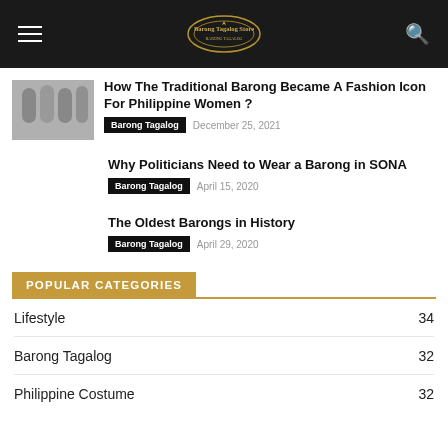Barong Tagalog Store
How The Traditional Barong Became A Fashion Icon For Philippine Women ?
Barong Tagalog   December 25, 2021
Why Politicians Need to Wear a Barong in SONA
Barong Tagalog   April 15, 2020
The Oldest Barongs in History
Barong Tagalog   April 29, 2020
POPULAR CATEGORIES
Lifestyle  34
Barong Tagalog  32
Philippine Costume  32